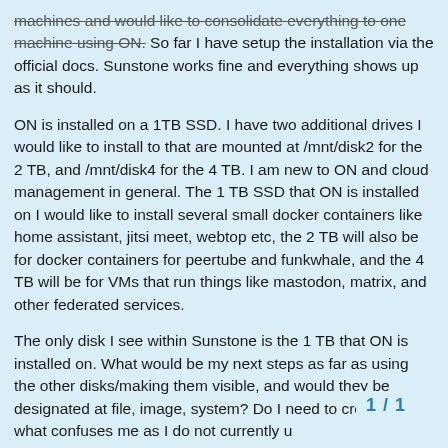machines and would like to consolidate everything to one machine using ON. So far I have setup the installation via the official docs. Sunstone works fine and everything shows up as it should.
ON is installed on a 1TB SSD. I have two additional drives I would like to install to that are mounted at /mnt/disk2 for the 2 TB, and /mnt/disk4 for the 4 TB. I am new to ON and cloud management in general. The 1 TB SSD that ON is installed on I would like to install several small docker containers like home assistant, jitsi meet, webtop etc, the 2 TB will also be for docker containers for peertube and funkwhale, and the 4 TB will be for VMs that run things like mastodon, matrix, and other federated services.
The only disk I see within Sunstone is the 1 TB that ON is installed on. What would be my next steps as far as using the other disks/making them visible, and would they be designated at file, image, system? Do I need to create is what confuses me as I do not currently u
1 / 1